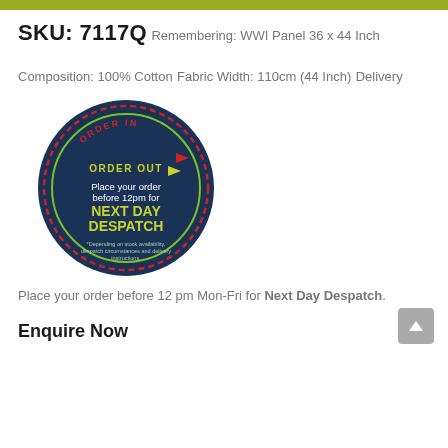SKU: 7117Q
Remembering: WWI Panel 36 x 44 Inch
Composition: 100% Cotton
Fabric Width: 110cm (44 Inch)
Delivery
[Figure (illustration): Circular badge on dark blue background with text: ORDER IN (red arc top), ORDER OUT (yellow-green arc), Place your order before 12pm for NEXT DAY DESPATCH, with disclaimer text at bottom. Red and green circular border lines.]
Place your order before 12 pm Mon-Fri for Next Day Despatch.
Enquire Now